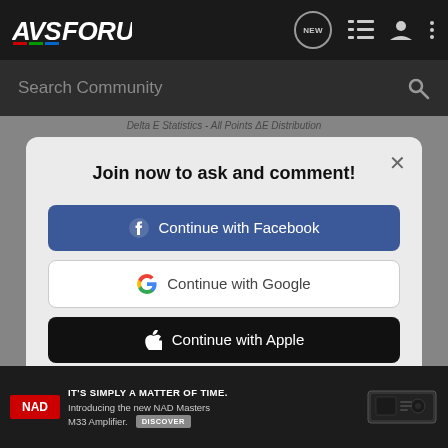[Figure (screenshot): AVSForum navigation bar with logo, NEW badge, list icon, user icon, and more options icon on dark background]
[Figure (screenshot): Search Community input bar with magnifying glass icon on dark background]
Delta E Statistics - All Points ΔE Distribution
Join now to ask and comment!
[Figure (screenshot): Continue with Facebook button - blue background with Facebook logo]
[Figure (screenshot): Continue with Google button - white background with Google G logo]
[Figure (screenshot): Continue with Apple button - black background with Apple logo]
or sign up with email
[Figure (screenshot): NAD advertisement banner: IT'S SIMPLY A MATTER OF TIME. Introducing the new NAD Masters M33 Amplifier. DISCOVER]